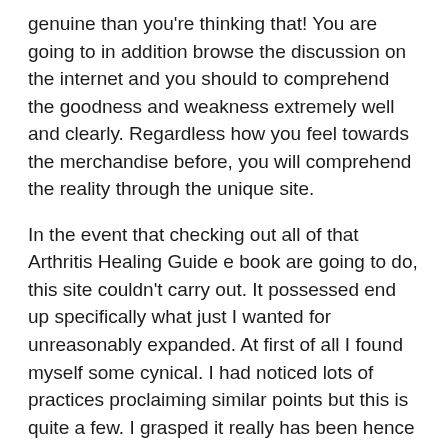genuine than you're thinking that! You are going to in addition browse the discussion on the internet and you should to comprehend the goodness and weakness extremely well and clearly. Regardless how you feel towards the merchandise before, you will comprehend the reality through the unique site.
In the event that checking out all of that Arthritis Healing Guide e book are going to do, this site couldn't carry out. It possessed end up specifically what just I wanted for unreasonably expanded. At first of all I found myself some cynical. I had noticed lots of practices proclaiming similar points but this is quite a few. I grasped it really has been hence a realistic rate a wonderful fraud enjoy many others, as soon as I observed. So, without 100 % totally wasting valuable time I did set out to work the application form. And present e-mail address information is outstanding. A good deal a lot more than I thought